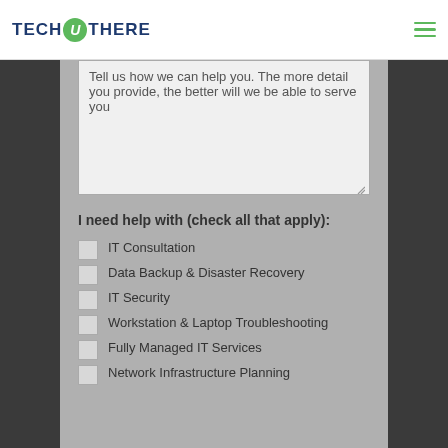Tech-U-There
Tell us how we can help you. The more detail you provide, the better will we be able to serve you
I need help with (check all that apply):
IT Consultation
Data Backup & Disaster Recovery
IT Security
Workstation & Laptop Troubleshooting
Fully Managed IT Services
Network Infrastructure Planning